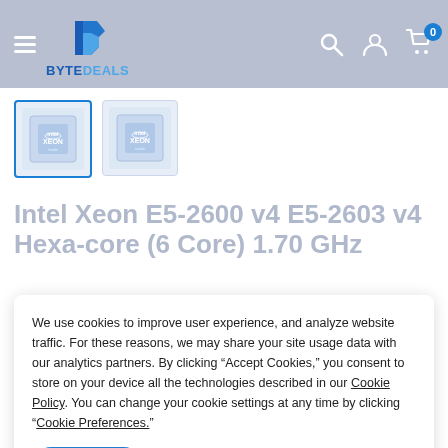[Figure (logo): ByteDeals logo with blue diamond icon and BYTEDEALS text]
[Figure (photo): Two thumbnail images of Intel Xeon processor chip (E5-2603 v4), first one selected with blue border]
Intel Xeon E5-2600 v4 E5-2603 v4 Hexa-core (6 Core) 1.70 GHz
We use cookies to improve user experience, and analyze website traffic. For these reasons, we may share your site usage data with our analytics partners. By clicking “Accept Cookies,” you consent to store on your device all the technologies described in our Cookie Policy. You can change your cookie settings at any time by clicking “Cookie Preferences.”
Accept
Price: $340.73